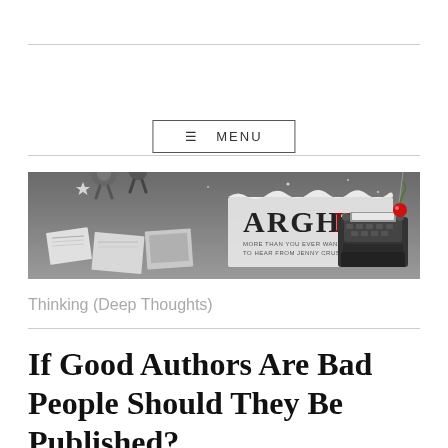[Figure (illustration): ARGH INK blog banner: grayscale illustration with figures, stars, scattered photos/papers, a typewriter with a red cherry on top, and the text 'ARGH INK' in large letters with a torn paper effect. Subtitle text reads 'More than you ever wanted to hear from Jenny Crusie'.]
Thinking (Deep Thoughts)
If Good Authors Are Bad People Should They Be Published?